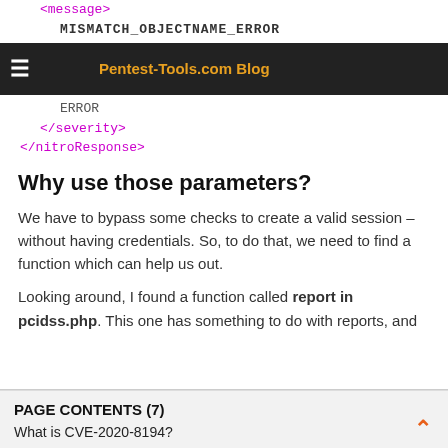MISMATCH_OBJECTNAME_ERROR
Pentest-Tools.com Blog
ERROR
</severity>
</nitroResponse>
Why use those parameters?
We have to bypass some checks to create a valid session – without having credentials. So, to do that, we need to find a function which can help us out.
Looking around, I found a function called report in pcidss.php. This one has something to do with reports, and
PAGE CONTENTS (7)
What is CVE-2020-8194?